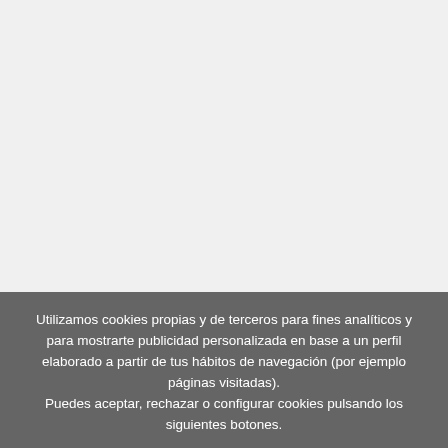NAVEGANDO POR RUSTICALTRAVEL.COM
Condiciones de reserva
Cookies y política de privacidad
INFORMACIÓN DE LA COMPAÑÍA
Quiénes somos
Contacta con nosotros
Utilizamos cookies propias y de terceros para fines analíticos y para mostrarte publicidad personalizada en base a un perfil elaborado a partir de tus hábitos de navegación (por ejemplo páginas visitadas). Puedes aceptar, rechazar o configurar cookies pulsando los siguientes botones.
Aceptar
¡SUSCRÍBETE AHORA!
Rechazar
Noticias exclusivas y ofertas especiales para ti
Configurar
Más información